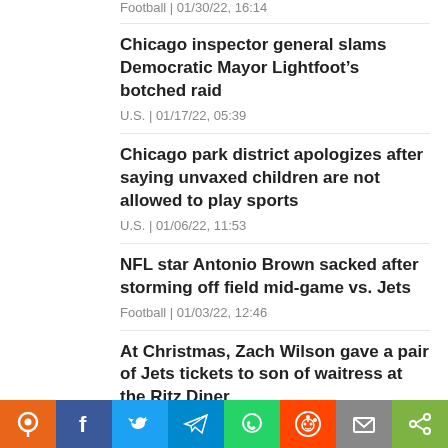Football | 01/30/22, 16:14
Chicago inspector general slams Democratic Mayor Lightfoot’s botched raid
U.S. | 01/17/22, 05:39
Chicago park district apologizes after saying unvaxed children are not allowed to play sports
U.S. | 01/06/22, 11:53
NFL star Antonio Brown sacked after storming off field mid-game vs. Jets
Football | 01/03/22, 12:46
At Christmas, Zach Wilson gave a pair of Jets tickets to son of waitress at the Ritz Diner
Social share bar